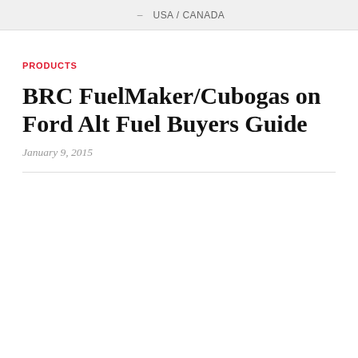USA / CANADA
PRODUCTS
BRC FuelMaker/Cubogas on Ford Alt Fuel Buyers Guide
January 9, 2015